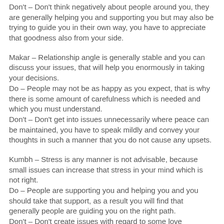Don't – Don't think negatively about people around you, they are generally helping you and supporting you but may also be trying to guide you in their own way, you have to appreciate that goodness also from your side.
Makar – Relationship angle is generally stable and you can discuss your issues, that will help you enormously in taking your decisions.
Do – People may not be as happy as you expect, that is why there is some amount of carefulness which is needed and which you must understand.
Don't – Don't get into issues unnecessarily where peace can be maintained, you have to speak mildly and convey your thoughts in such a manner that you do not cause any upsets.
Kumbh – Stress is any manner is not advisable, because small issues can increase that stress in your mind which is not right.
Do – People are supporting you and helping you and you should take that support, as a result you will find that generally people are guiding you on the right path.
Don't – Don't create issues with regard to some love...